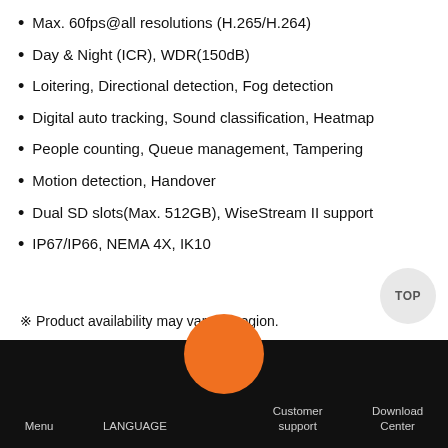Max. 60fps@all resolutions (H.265/H.264)
Day & Night (ICR), WDR(150dB)
Loitering, Directional detection, Fog detection
Digital auto tracking, Sound classification, Heatmap
People counting, Queue management, Tampering
Motion detection, Handover
Dual SD slots(Max. 512GB), WiseStream II support
IP67/IP66, NEMA 4X, IK10
※ Product availability may vary by region.
Menu  LANGUAGE  Customer support  Download Center